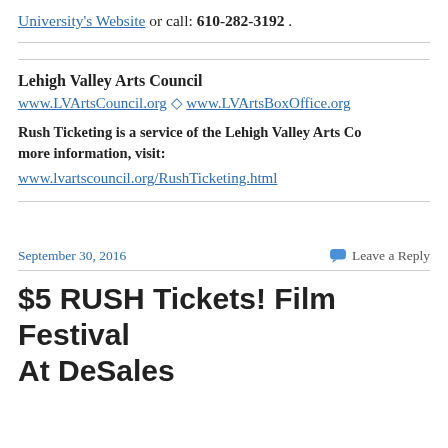University's Website or call: 610-282-3192 .
Lehigh Valley Arts Council
www.LVArtsCouncil.org ◇ www.LVArtsBoxOffice.org
Rush Ticketing is a service of the Lehigh Valley Arts Council. For more information, visit: www.lvartscouncil.org/RushTicketing.html
September 30, 2016
Leave a Reply
$5 RUSH Tickets! Film Festival At DeSales